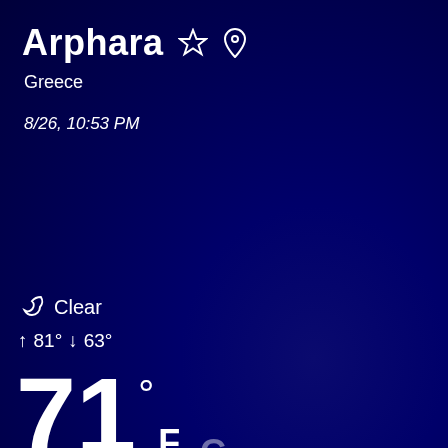Arphara
Greece
8/26, 10:53 PM
Clear
↑ 81° ↓ 63°
71°F